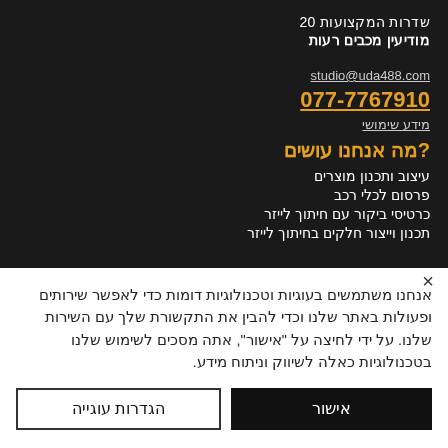שדרות המקצועות 20
מודיעין מכבים רעות
studio@uda488.com
077-7767910
מידע שימושי
?מה אנחנו עושים
עיצוב ותכנון מוצרים
פרסום לכלי רכב
כרטיסי ביקור עם חיתוך לייזר
תכנון וייצור חלקים בחיתוך לייזר
אנחנו משתמשים בעוגיות וטכנולוגיות דומות כדי לאפשר שירותים ופעולות באתר שלנו וכדי להבין את התקשורת שלך עם השירות שלנו. על ידי לחיצה על "אישור", אתה מסכים לשימוש שלנו בטכנולוגיות כאלה לשיווק וניתוח מידע.
אישור
הגדרות עוגייה